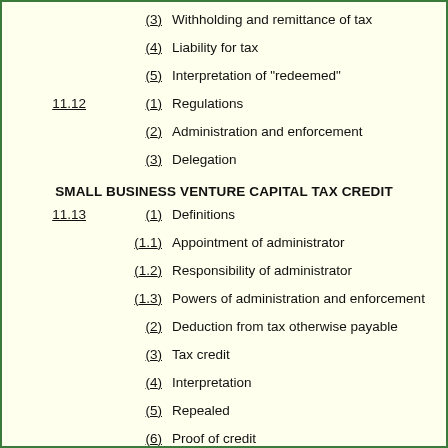(3) Withholding and remittance of tax
(4) Liability for tax
(5) Interpretation of "redeemed"
11.12 (1) Regulations
(2) Administration and enforcement
(3) Delegation
SMALL BUSINESS VENTURE CAPITAL TAX CREDIT
11.13 (1) Definitions
(1.1) Appointment of administrator
(1.2) Responsibility of administrator
(1.3) Powers of administration and enforcement
(2) Deduction from tax otherwise payable
(3) Tax credit
(4) Interpretation
(5) Repealed
(6) Proof of credit
11.14 (1) Use of eligible investment proceeds